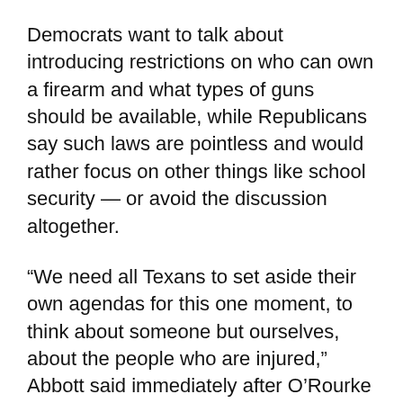Democrats want to talk about introducing restrictions on who can own a firearm and what types of guns should be available, while Republicans say such laws are pointless and would rather focus on other things like school security — or avoid the discussion altogether.
“We need all Texans to set aside their own agendas for this one moment, to think about someone but ourselves, about the people who are injured,” Abbott said immediately after O’Rourke left, raising his voice.
Lieutenant Governor Dan Patrick, who took the microphone moments later, insisted that now was the time to focus on the victims and